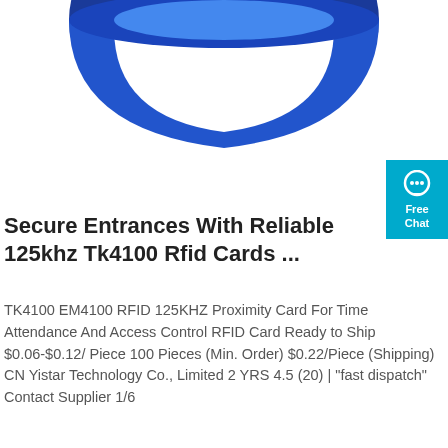[Figure (photo): Blue RFID ring/wristband product shown partially from above on white background]
Secure Entrances With Reliable 125khz Tk4100 Rfid Cards ...
TK4100 EM4100 RFID 125KHZ Proximity Card For Time Attendance And Access Control RFID Card Ready to Ship $0.06-$0.12/ Piece 100 Pieces (Min. Order) $0.22/Piece (Shipping) CN Yistar Technology Co., Limited 2 YRS 4.5 (20) | "fast dispatch" Contact Supplier 1/6
Get Price